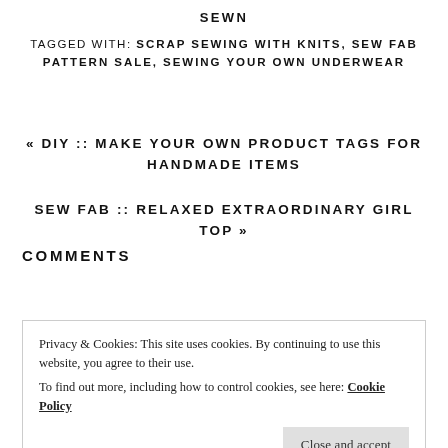SEWN
TAGGED WITH: SCRAP SEWING WITH KNITS, SEW FAB PATTERN SALE, SEWING YOUR OWN UNDERWEAR
« DIY :: MAKE YOUR OWN PRODUCT TAGS FOR HANDMADE ITEMS
SEW FAB :: RELAXED EXTRAORDINARY GIRL TOP »
Privacy & Cookies: This site uses cookies. By continuing to use this website, you agree to their use.
To find out more, including how to control cookies, see here: Cookie Policy
Close and accept
COMMENTS